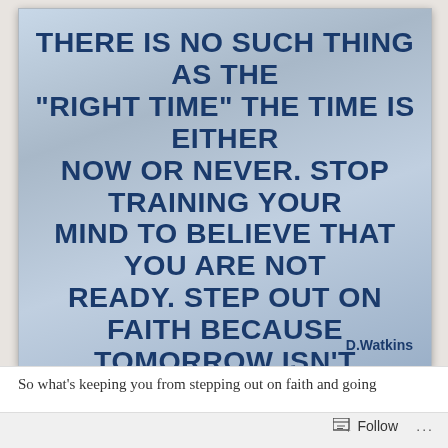[Figure (infographic): Motivational quote image with blue gradient background. Bold dark blue uppercase text reads: THERE IS NO SUCH THING AS THE "RIGHT TIME" THE TIME IS EITHER NOW OR NEVER. STOP TRAINING YOUR MIND TO BELIEVE THAT YOU ARE NOT READY. STEP OUT ON FAITH BECAUSE TOMORROW ISN'T PROMISED. YOU WILL FAIL AT SOME THINGS BUT YOU WILL SUCCEED AS WELL. YOU JUST NEVER KNOW SO GO FOR IT! Attribution: D.Watkins]
So what's keeping you from stepping out on faith and going
Follow ...